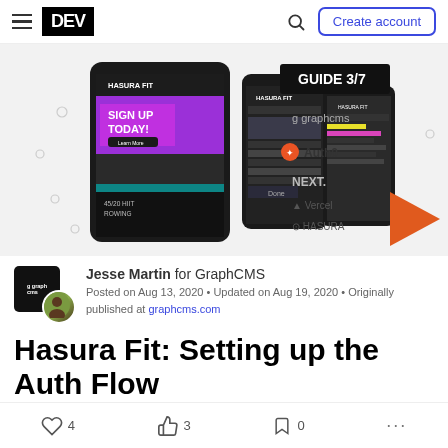DEV | Create account
[Figure (screenshot): Hero image showing Hasura Fit app screenshots on mobile phones with GUIDE 3/7 badge, graphcms, Auth0, NEXT., Vercel, Hasura logos and orange play button triangle]
Jesse Martin for GraphCMS
Posted on Aug 13, 2020 • Updated on Aug 19, 2020 • Originally published at graphcms.com
Hasura Fit: Setting up the Auth Flow
4  3  0  ...